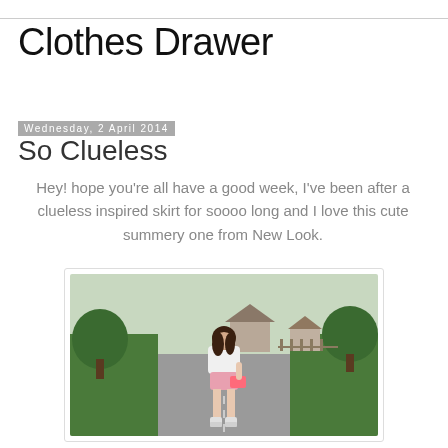Clothes Drawer
Wednesday, 2 April 2014
So Clueless
Hey! hope you're all have a good week, I've been after a clueless inspired skirt for soooo long and I love this cute summery one from New Look.
[Figure (photo): Young woman standing on a suburban road wearing a white top, pink mini skirt, and white platform heels, holding a pink handbag. Trees and houses visible in background.]